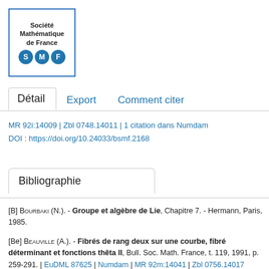[Figure (logo): Société Mathématique de France logo with blue S M F circles]
Détail | Export | Comment citer (tabs)
MR 92i:14009 | Zbl 0748.14011 | 1 citation dans Numdam
DOI : https://doi.org/10.24033/bsmf.2168
Bibliographie
[B] Bourbaki (N.). - Groupe et algèbre de Lie, Chapitre 7. - Hermann, Paris, 1985.
[Be] Beauville (A.). - Fibrés de rang deux sur une courbe, fibré déterminant et fonctions thêta II, Bull. Soc. Math. France, t. 119, 1991, p. 259-291. | EuDML 87625 | Numdam | MR 92m:14041 | Zbl 0756.14017